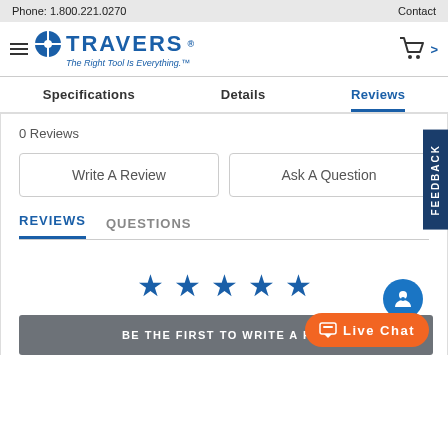Phone: 1.800.221.0270   Contact
[Figure (logo): Travers Tool logo with blue compass icon and tagline 'The Right Tool Is Everything.']
Specifications   Details   Reviews
0 Reviews
Write A Review
Ask A Question
REVIEWS   QUESTIONS
[Figure (infographic): Five blue stars rating display]
BE THE FIRST TO WRITE A REV...
FEEDBACK
Live Chat